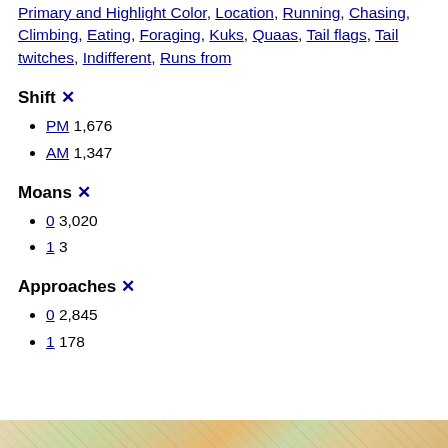Primary and Highlight Color, Location, Running, Chasing, Climbing, Eating, Foraging, Kuks, Quaas, Tail flags, Tail twitches, Indifferent, Runs from
Shift ✕
PM 1,676
AM 1,347
Moans ✕
0 3,020
1 3
Approaches ✕
0 2,845
1 178
[Figure (map): Partial map strip visible at bottom of page]